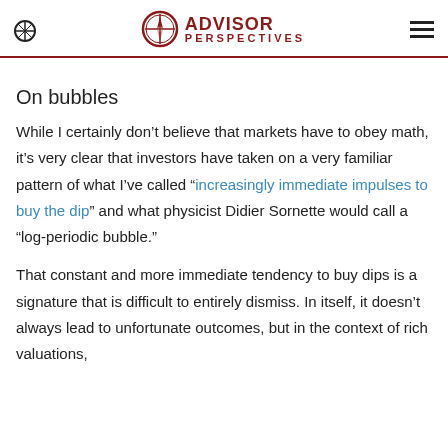ADVISOR PERSPECTIVES
On bubbles
While I certainly don’t believe that markets have to obey math, it’s very clear that investors have taken on a very familiar pattern of what I’ve called “increasingly immediate impulses to buy the dip” and what physicist Didier Sornette would call a “log-periodic bubble.”
That constant and more immediate tendency to buy dips is a signature that is difficult to entirely dismiss. In itself, it doesn’t always lead to unfortunate outcomes, but in the context of rich valuations,